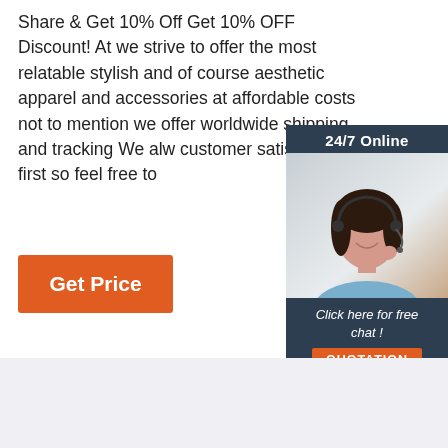Share & Get 10% Off Get 10% OFF Discount! At we strive to offer the most relatable stylish and of course aesthetic apparel and accessories at affordable costs not to mention we offer worldwide shipping and tracking We alw customer satisfaction first so feel free to
[Figure (infographic): 24/7 Online chat widget with a woman wearing a headset, and a 'Click here for free chat! QUOTATION' call-to-action button]
Get Price
[Figure (infographic): Bottom section with light gray background and a 'TOP' badge with orange dotted arc on the right side]